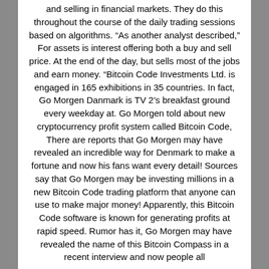and selling in financial markets. They do this throughout the course of the daily trading sessions based on algorithms. “As another analyst described,” For assets is interest offering both a buy and sell price. At the end of the day, but sells most of the jobs and earn money. “Bitcoin Code Investments Ltd. is engaged in 165 exhibitions in 35 countries. In fact, Go Morgen Danmark is TV 2’s breakfast ground every weekday at. Go Morgen told about new cryptocurrency profit system called Bitcoin Code, There are reports that Go Morgen may have revealed an incredible way for Denmark to make a fortune and now his fans want every detail! Sources say that Go Morgen may be investing millions in a new Bitcoin Code trading platform that anyone can use to make major money! Apparently, this Bitcoin Code software is known for generating profits at rapid speed. Rumor has it, Go Morgen may have revealed the name of this Bitcoin Compass in a recent interview and now people all